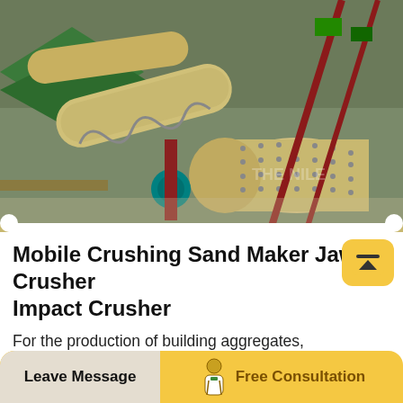[Figure (photo): Aerial/overhead view of industrial mining/crushing machinery including ball mills, conveyor systems, and crushers in a factory or mining facility. Equipment is predominantly beige/tan colored with green roof sections visible.]
Mobile Crushing Sand Maker Jaw Crusher Impact Crusher
For the production of building aggregates, VANGUARD provides such main crushers as the sand maker, sand washer, and sand recycling machine. So far, we have developed 10 series machines that include over 100 models that can be
Leave Message   Free Consultation